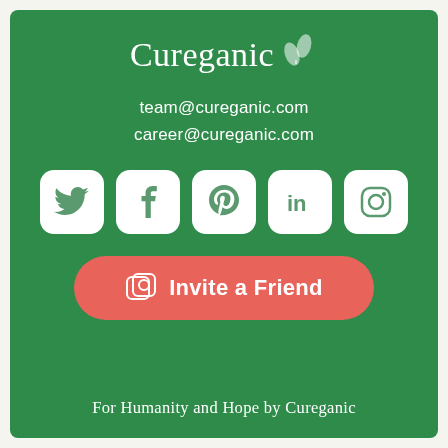Cureganic
team@cureganic.com
career@cureganic.com
[Figure (infographic): Five social media icon buttons: Twitter (bird), Facebook (f), Pinterest (P), LinkedIn (in), Instagram (camera)]
Invite a Friend
For Humanity and Hope by Cureganic